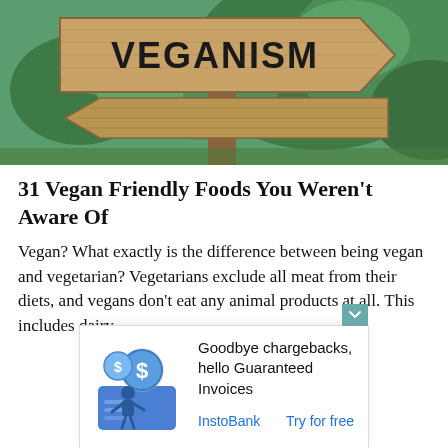[Figure (photo): A wooden directional arrow sign with the word VEGANISM carved/painted in bold letters, mounted on a wooden post, with green trees and nature in the background.]
31 Vegan Friendly Foods You Weren't Aware Of
Vegan? What exactly is the difference between being vegan and vegetarian? Vegetarians exclude all meat from their diets, and vegans don't eat any animal products at all. This includes dairy
[Figure (illustration): Advertisement banner: illustration of a person with dollar coins and a credit card/invoice graphic. Text: 'Goodbye chargebacks, hello Guaranteed Invoices'. Links: InstoBank | Try for free]